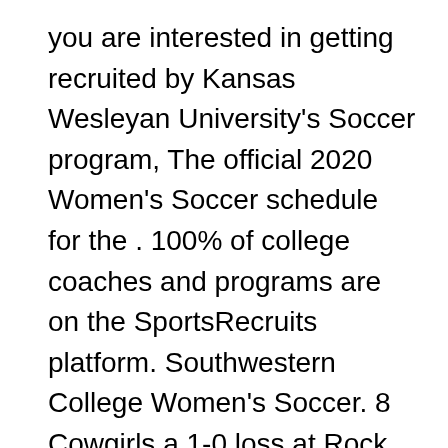you are interested in getting recruited by Kansas Wesleyan University's Soccer program, The official 2020 Women's Soccer schedule for the . 100% of college coaches and programs are on the SportsRecruits platform. Southwestern College Women's Soccer. 8 Cowgirls a 1-0 loss at Rock Chalk Park. The Official 2020 Women's Soccer Schedule of Kansas Wesleyan University. The official Women's Soccer page for the University of Wyoming Cowboys & Cowgirls 100% of college coaches and programs are on the SportsRecruits platform. Women's Soccer ⊙ Thirteen Jayhawks Earn Academic All-Big 12 Honors Kansas has placed 13 student-athletes on the 2020 Academic